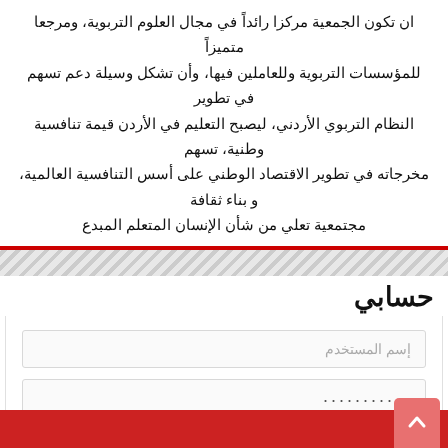ان تكون الجمعية مركزا رائدا في مجال العلوم التربوية، ومرجعا متميزا للمؤسسات التربوية وللعاملين فيها، وأن تشكل وسيلة دعم تسهم في تطوير النظام التربوي الأردني، ليصبح التعليم في الأردن قيمة تنافسية وطنية، تسهم مخرجاته في تطوير الاقتصاد الوطني على أسس التنافسية العالمية، و بناء ثقافة مجتمعية تعلي من شأن الإنسان المتعلم المبدع
حسابي
إسم المستخدم
...........
تسجيل الدخول
تذكرني
تسجيل
نسيت كلمة المرور؟